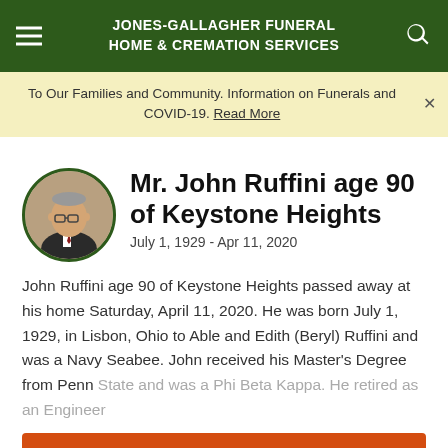JONES-GALLAGHER FUNERAL HOME & CREMATION SERVICES
To Our Families and Community. Information on Funerals and COVID-19. Read More
Mr. John Ruffini age 90 of Keystone Heights
July 1, 1929 - Apr 11, 2020
John Ruffini age 90 of Keystone Heights passed away at his home Saturday, April 11, 2020. He was born July 1, 1929, in Lisbon, Ohio to Able and Edith (Beryl) Ruffini and was a Navy Seabee. John received his Master's Degree from Penn State and was a Phi Beta Kappa. He retired as an Engineer
View Obituary & Service